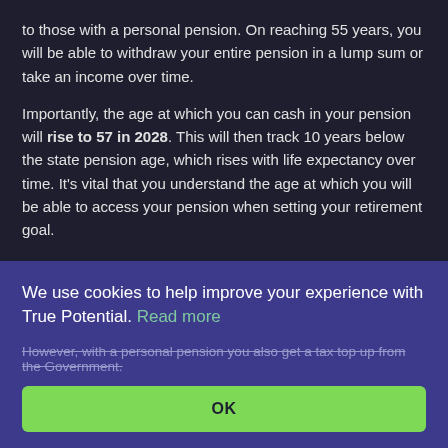to those with a personal pension. On reaching 55 years, you will be able to withdraw your entire pension in a lump sum or take an income over time.
Importantly, the age at which you can cash in your pension will rise to 57 in 2028. This will then track 10 years below the state pension age, which rises with life expectancy over time. It's vital that you understand the age at which you will be able to access your pension when setting your retirement goal.
Why Invest in a Personal Pension?
A personal pension is a tax-efficient way to invest for your retirement. As well as managing income, it also allows you to get tax on money held within your pension.
We use cookies to help improve your experience with True Potential. Read more
However, with a personal pension you also get a tax top up from the Government.